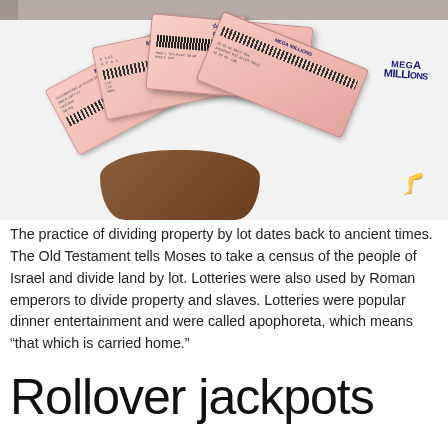[Figure (photo): A person holding a fan of Mega Millions lottery tickets in front of their white shirt, inside a store]
The practice of dividing property by lot dates back to ancient times. The Old Testament tells Moses to take a census of the people of Israel and divide land by lot. Lotteries were also used by Roman emperors to divide property and slaves. Lotteries were popular dinner entertainment and were called apophoreta, which means “that which is carried home.”
Rollover jackpots